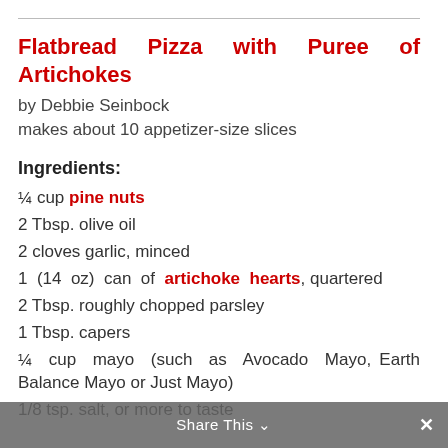Flatbread Pizza with Puree of Artichokes
by Debbie Seinbock
makes about 10 appetizer-size slices
Ingredients:
¼ cup pine nuts
2 Tbsp. olive oil
2 cloves garlic, minced
1 (14 oz) can of artichoke hearts, quartered
2 Tbsp. roughly chopped parsley
1 Tbsp. capers
¼ cup mayo (such as Avocado Mayo, Earth Balance Mayo or Just Mayo)
1/8 tsp. salt, or more to taste
Share This ×